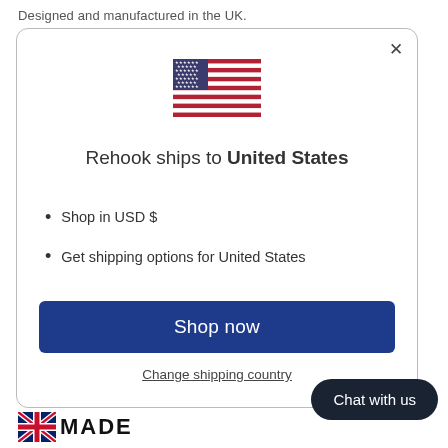Designed and manufactured in the UK.
[Figure (screenshot): Modal dialog showing US flag, 'Rehook ships to United States', bullet points for USD and shipping options, Shop now button, and Change shipping country link]
Shop in USD $
Get shipping options for United States
Shop now
Change shipping country
Chat with us
[Figure (logo): UK flag with MADE text badge]